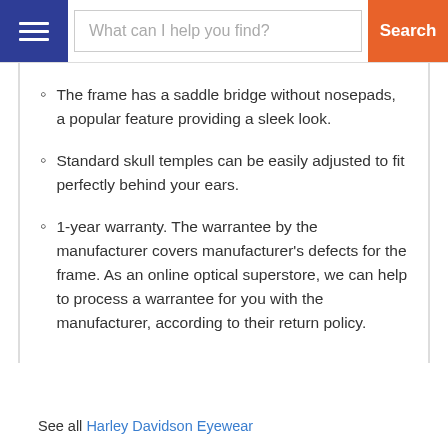What can I help you find? Search
The frame has a saddle bridge without nosepads, a popular feature providing a sleek look.
Standard skull temples can be easily adjusted to fit perfectly behind your ears.
1-year warranty. The warrantee by the manufacturer covers manufacturer's defects for the frame. As an online optical superstore, we can help to process a warrantee for you with the manufacturer, according to their return policy.
See all Harley Davidson Eyewear